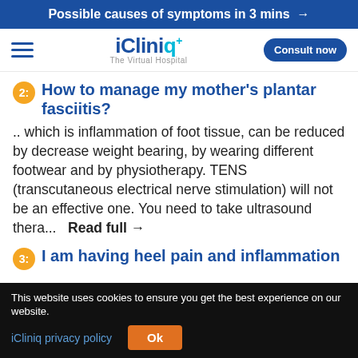Possible causes of symptoms in 3 mins →
[Figure (logo): iCliniq+ The Virtual Hospital logo with hamburger menu and Consult now button]
2: How to manage my mother's plantar fasciitis?
.. which is inflammation of foot tissue, can be reduced by decrease weight bearing, by wearing different footwear and by physiotherapy. TENS (transcutaneous electrical nerve stimulation) will not be an effective one. You need to take ultrasound thera...  Read full →
3: I am having heel pain and inflammation
This website uses cookies to ensure you get the best experience on our website.
iCliniq privacy policy   Ok